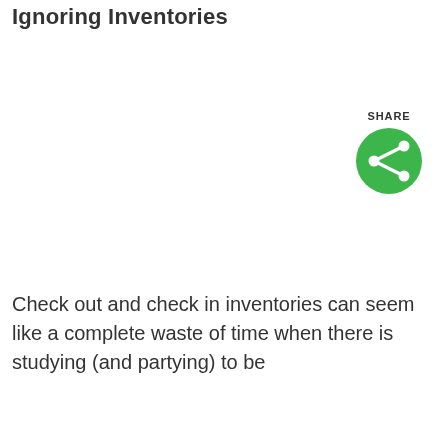Ignoring Inventories
[Figure (illustration): Green circular share button icon with white share/network symbol]
Check out and check in inventories can seem like a complete waste of time when there is studying (and partying) to be